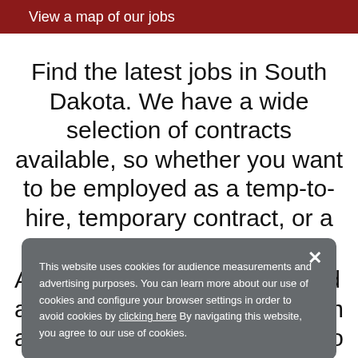View a map of our jobs
Find the latest jobs in South Dakota. We have a wide selection of contracts available, so whether you want to be employed as a temp-to-hire, temporary contract, or a direct hire employee,
This website uses cookies for audience measurements and advertising purposes. You can learn more about our use of cookies and configure your browser settings in order to avoid cookies by clicking here By navigating this website, you agree to our use of cookies.